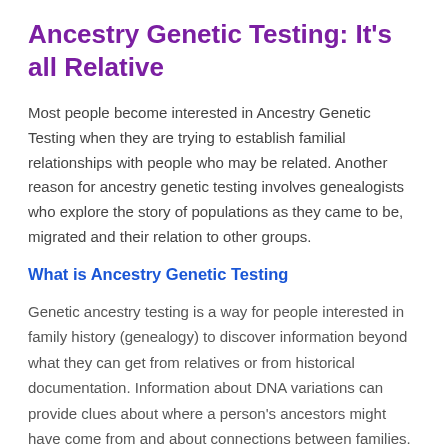Ancestry Genetic Testing: It's all Relative
Most people become interested in Ancestry Genetic Testing when they are trying to establish familial relationships with people who may be related. Another reason for ancestry genetic testing involves genealogists who explore the story of populations as they came to be, migrated and their relation to other groups.
What is Ancestry Genetic Testing
Genetic ancestry testing is a way for people interested in family history (genealogy) to discover information beyond what they can get from relatives or from historical documentation. Information about DNA variations can provide clues about where a person's ancestors might have come from and about connections between families.
A small saliva sample is all that is usually needed to get the